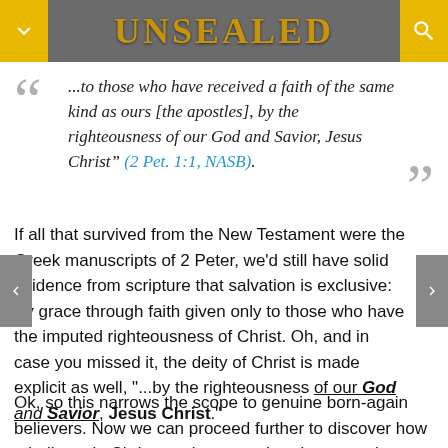UNSEALED
...to those who have received a faith of the same kind as ours [the apostles], by the righteousness of our God and Savior, Jesus Christ" (2 Pet. 1:1, NASB).
If all that survived from the New Testament were the Greek manuscripts of 2 Peter, we'd still have solid evidence from scripture that salvation is exclusive: By grace through faith given only to those who have the imputed righteousness of Christ. Oh, and in case you missed it, the deity of Christ is made explicit as well, "...by the righteousness of our God and Savior, Jesus Christ."
Ok, so this narrows the scope to genuine born-again believers. Now we can proceed further to discover how a believer in Christ can have an abundant entry into glory: